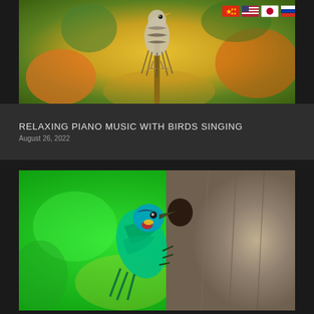[Figure (photo): A small striped bird perched on a thin branch against a blurred green and orange bokeh background]
RELAXING PIANO MUSIC WITH BIRDS SINGING
August 26, 2022
[Figure (photo): A vibrant turquoise and green woodpecker-type bird clinging to a tree trunk, with bright green blurred foliage background]